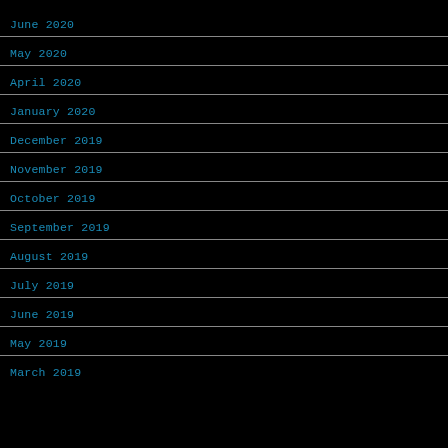June 2020
May 2020
April 2020
January 2020
December 2019
November 2019
October 2019
September 2019
August 2019
July 2019
June 2019
May 2019
March 2019